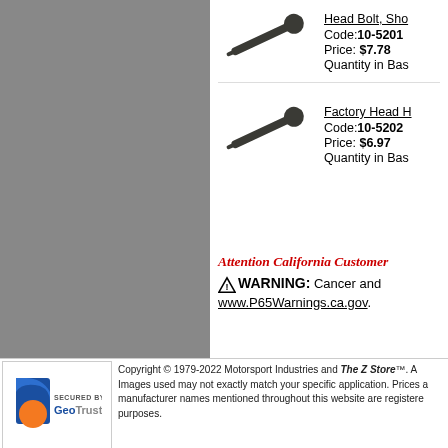[Figure (photo): Gray sidebar panel background]
[Figure (photo): Head bolt, short — dark metal bolt photographed diagonally]
Head Bolt, Sho
Code:10-5201
Price: $7.78
Quantity in Bas
[Figure (photo): Factory Head Head bolt — dark metal bolt photographed diagonally]
Factory Head H
Code:10-5202
Price: $6.97
Quantity in Bas
Attention California Customer
WARNING: Cancer and www.P65Warnings.ca.gov.
[Figure (logo): GeoTrust security badge — blue and orange logo with text SECURED BY GeoTrust]
Copyright © 1979-2022 Motorsport Industries and The Z Store™. A Images used may not exactly match your specific application. Prices a manufacturer names mentioned throughout this website are registere purposes.